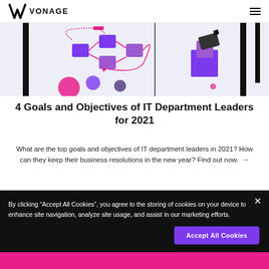VONAGE
[Figure (illustration): Vonage blog article hero image showing abstract diagrams and illustration elements in pink and purple on a light background. Left side shows a flow diagram with purple boxes and pink arrows. Right side shows a purple tower/block graphic element. Black vertical bar elements on outer edges.]
4 Goals and Objectives of IT Department Leaders for 2021
What are the top goals and objectives of IT department leaders in 2021? How can they keep their business resolutions in the new year? Find out now. →
By clicking "Accept All Cookies", you agree to the storing of cookies on your device to enhance site navigation, analyze site usage, and assist in our marketing efforts.
Accept All Cookies